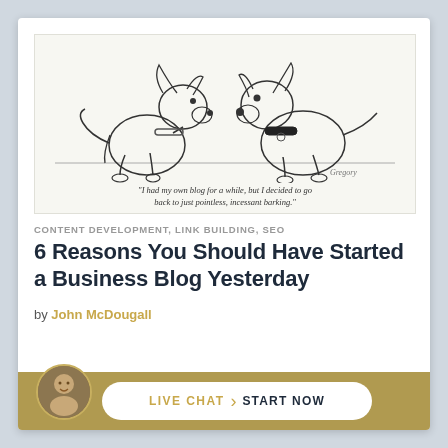[Figure (illustration): A cartoon drawing of two dogs sitting facing each other. Caption reads: "I had my own blog for a while, but I decided to go back to just pointless, incessant barking." Signed by Gregory.]
"I had my own blog for a while, but I decided to go back to just pointless, incessant barking."
CONTENT DEVELOPMENT, LINK BUILDING, SEO
6 Reasons You Should Have Started a Business Blog Yesterday
by John McDougall
LIVE CHAT  START NOW